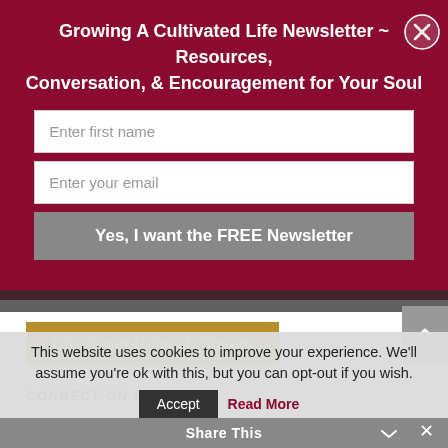Growing A Cultivated Life Newsletter ~ Resources, Conversation, & Encouragement for Your Soul
[Figure (screenshot): Newsletter signup form with two text input fields (Enter first name, Enter your email) and a gray submit button labeled 'Yes, I want the FREE Newsletter', with a close button (X) on the right]
[Figure (screenshot): Gold/ochre button labeled 'Check out Unleash Sheets']
Connect on Facebook
This website uses cookies to improve your experience. We'll assume you're ok with this, but you can opt-out if you wish.
Accept  Read More
Share This